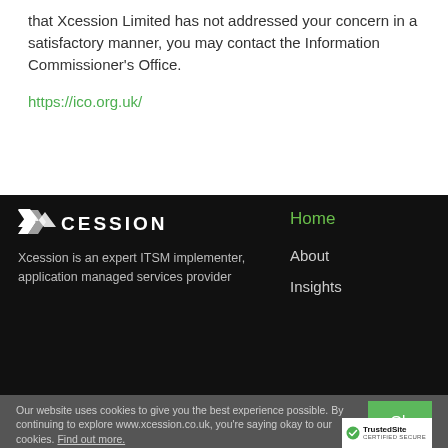that Xcession Limited has not addressed your concern in a satisfactory manner, you may contact the Information Commissioner's Office.
https://ico.org.uk/
[Figure (logo): Xcession logo: X icon followed by XCESSION text in white on black background]
Xcession is an expert ITSM implementer, application managed services provider
Home
About
Insights
Our website uses cookies to give you the best experience possible. By continuing to explore www.xcession.co.uk, you're saying okay to our cookies. Find out more.
[Figure (logo): TrustedSite certified secure badge with green checkmark]